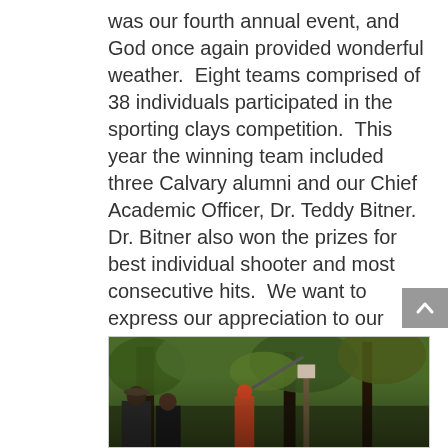was our fourth annual event, and God once again provided wonderful weather. Eight teams comprised of 38 individuals participated in the sporting clays competition. This year the winning team included three Calvary alumni and our Chief Academic Officer, Dr. Teddy Bitner. Dr. Bitner also won the prizes for best individual shooter and most consecutive hits. We want to express our appreciation to our sponsors – MidAmericare & Patmos Healthcare, Bushnell, and CZ-USA. All proceeds from the event will go toward student scholarships.
[Figure (photo): Outdoor photo of people at a sporting clays shooting event in a wooded area, with trees and green foliage in the background.]